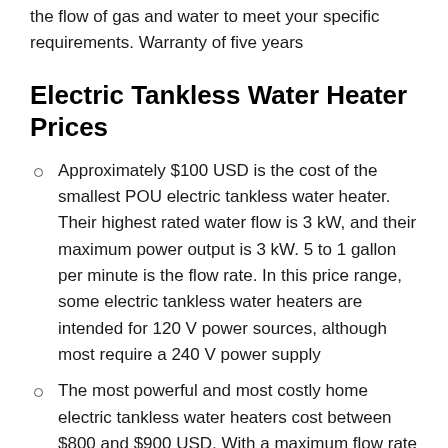the flow of gas and water to meet your specific requirements. Warranty of five years
Electric Tankless Water Heater Prices
Approximately $100 USD is the cost of the smallest POU electric tankless water heater. Their highest rated water flow is 3 kW, and their maximum power output is 3 kW. 5 to 1 gallon per minute is the flow rate. In this price range, some electric tankless water heaters are intended for 120 V power sources, although most require a 240 V power supply
The most powerful and most costly home electric tankless water heaters cost between $800 and $900 USD. With a maximum flow rate of 6 gpm and a power output of 36 kW